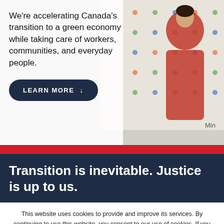[Figure (photo): Background photo of a woman in a red jacket at a Ministry of Just Transition 2025 event, with logos on a backdrop wall and a laptop visible in the foreground]
We're accelerating Canada's transition to a green economy while taking care of workers, communities, and everyday people.
LEARN MORE ↓
Transition is inevitable. Justice is up to us.
This website uses cookies to provide and improve its services. By continuing to use this website, you consent to our use of cookies. If you do not consent, please view our Cookie Policy for more information.